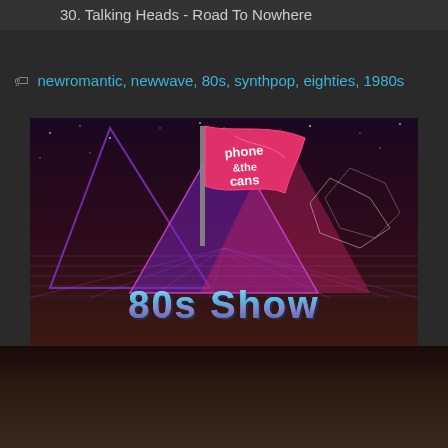30. Talking Heads - Road To Nowhere
🏷 newromantic, newwave, 80s, synthpop, eighties, 1980s
[Figure (illustration): Promotional image for '80s Show' featuring a pink waving flag with stylized text 'phone &amp; cans' logo, set against a retro 1980s-style background with neon purple triangles, geometric grid lines, and a synthwave aesthetic. The text '80s Show' appears at the bottom in a bold blue/chrome retro font.]